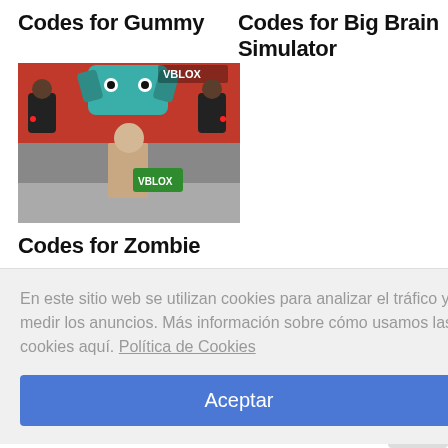Codes for Gummy
Codes for Big Brain Simulator
[Figure (screenshot): Roblox game screenshot showing zombie/monster characters in a dark red and grey environment with VBLOX branding]
Codes for Zombie
En este sitio web se utilizan cookies para analizar el tráfico y medir los anuncios. Más información sobre cómo usamos las cookies aquí. Política de Cookies
Aceptar
ked with